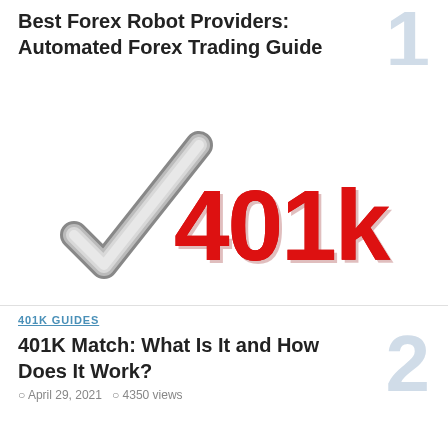Best Forex Robot Providers: Automated Forex Trading Guide
June 16, 2021  5820 views
[Figure (photo): 3D render of a silver checkmark next to large red '401k' letters on a white background]
401K GUIDES
401K Match: What Is It and How Does It Work?
April 29, 2021  4350 views